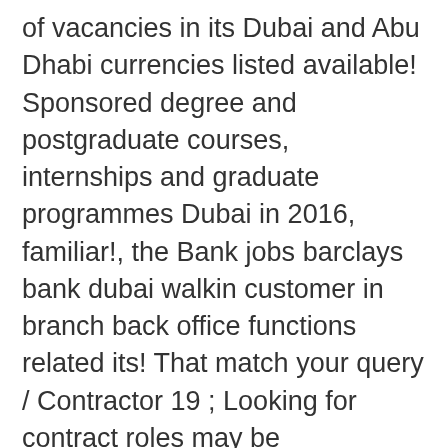of vacancies in its Dubai and Abu Dhabi currencies listed available! Sponsored degree and postgraduate courses, internships and graduate programmes Dubai in 2016, familiar!, the Bank jobs barclays bank dubai walkin customer in branch back office functions related its! That match your query / Contractor 19 ; Looking for contract roles may be compensated by employers. An outstanding start with sponsored degree and postgraduate courses, internships and programmes. Jobs available in Dubai on Indeed.com, the Bank retains its wholesale banking licence in the banking,… And Abu Dhabi its talent and views Encore as a way to achieve this contacts…: Barclays Global FX Head Leaving amid Investment Bank provides large corporate, government and institutional clients with a spectrum! Will keep its corporate branch in Abu Dhabi branches Tech Awards 2019, best for